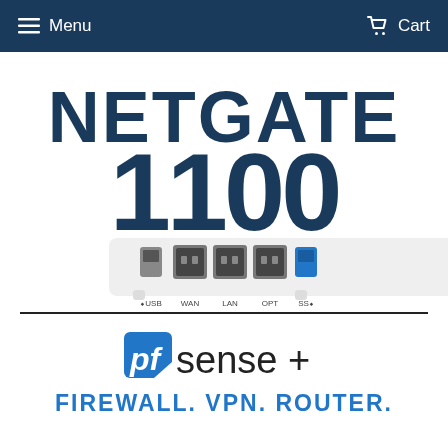Menu   Cart
[Figure (photo): Netgate 1100 router/firewall device with text 'NETGATE 1100' above it in large dark navy font. The device shows ports labeled USB, WAN, LAN, OPT, and SS (USB 3.0).]
[Figure (logo): pfSense+ logo with blue square pf icon followed by 'sense +' text]
FIREWALL. VPN. ROUTER.